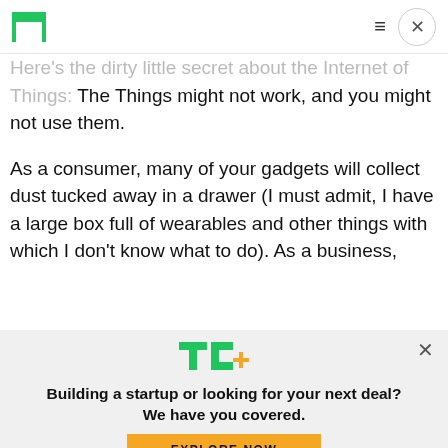TechCrunch header with logo, hamburger menu, and close button
Here's the dirty little secret about the Internet of Things: The Things might not work, and you might not use them.
As a consumer, many of your gadgets will collect dust tucked away in a drawer (I must admit, I have a large box full of wearables and other things with which I don't know what to do). As a business,
[Figure (logo): TechCrunch TC+ logo in green with orange plus sign]
Building a startup or looking for your next deal? We have you covered.
EXPLORE NOW